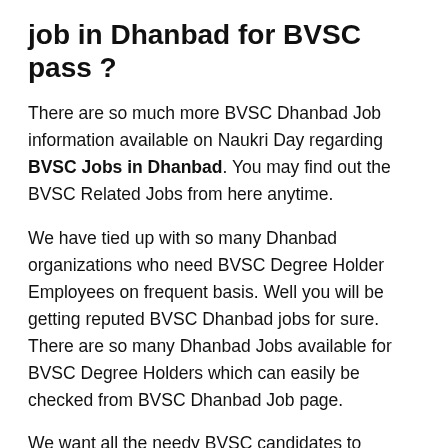job in Dhanbad for BVSC pass ?
There are so much more BVSC Dhanbad Job information available on Naukri Day regarding BVSC Jobs in Dhanbad. You may find out the BVSC Related Jobs from here anytime.
We have tied up with so many Dhanbad organizations who need BVSC Degree Holder Employees on frequent basis. Well you will be getting reputed BVSC Dhanbad jobs for sure. There are so many Dhanbad Jobs available for BVSC Degree Holders which can easily be checked from BVSC Dhanbad Job page.
We want all the needy BVSC candidates to